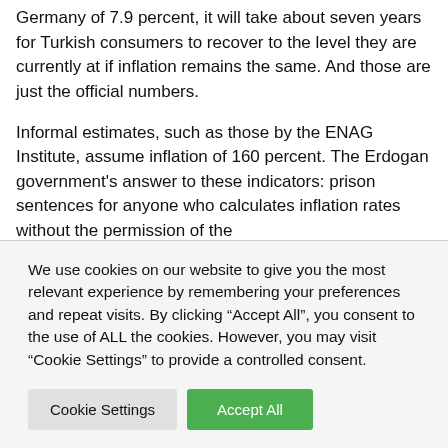Germany of 7.9 percent, it will take about seven years for Turkish consumers to recover to the level they are currently at if inflation remains the same. And those are just the official numbers.
Informal estimates, such as those by the ENAG Institute, assume inflation of 160 percent. The Erdogan government's answer to these indicators: prison sentences for anyone who calculates inflation rates without the permission of the
We use cookies on our website to give you the most relevant experience by remembering your preferences and repeat visits. By clicking “Accept All”, you consent to the use of ALL the cookies. However, you may visit "Cookie Settings" to provide a controlled consent.